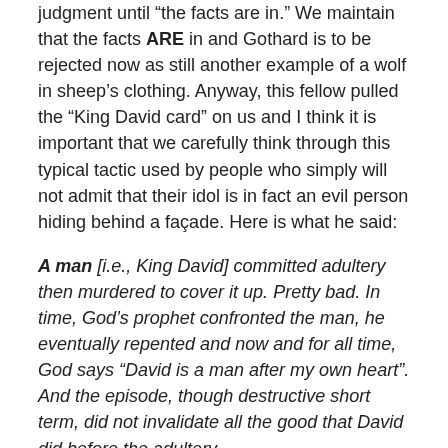judgment until “the facts are in.” We maintain that the facts ARE in and Gothard is to be rejected now as still another example of a wolf in sheep’s clothing. Anyway, this fellow pulled the “King David card” on us and I think it is important that we carefully think through this typical tactic used by people who simply will not admit that their idol is in fact an evil person hiding behind a façade. Here is what he said:
A man [i.e., King David] committed adultery then murdered to cover it up. Pretty bad. In time, God’s prophet confronted the man, he eventually repented and now and for all time, God says “David is a man after my own heart”. And the episode, though destructive short term, did not invalidate all the good that David did before the adultery.
There is sooo much wrong in these words. First of all, it is